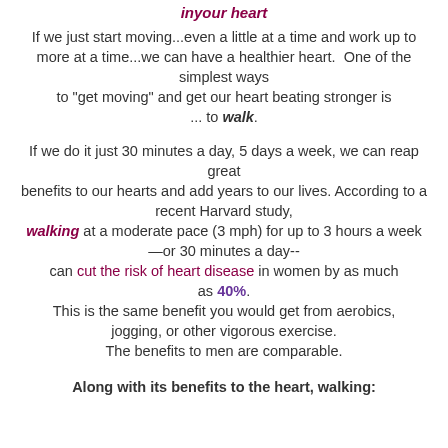in your heart
If we just start moving...even a little at a time and work up to more at a time...we can have a healthier heart. One of the simplest ways to "get moving" and get our heart beating stronger is ... to walk.
If we do it just 30 minutes a day, 5 days a week, we can reap great benefits to our hearts and add years to our lives. According to a recent Harvard study, walking at a moderate pace (3 mph) for up to 3 hours a week—or 30 minutes a day-- can cut the risk of heart disease in women by as much as 40%. This is the same benefit you would get from aerobics, jogging, or other vigorous exercise. The benefits to men are comparable.
Along with its benefits to the heart, walking: